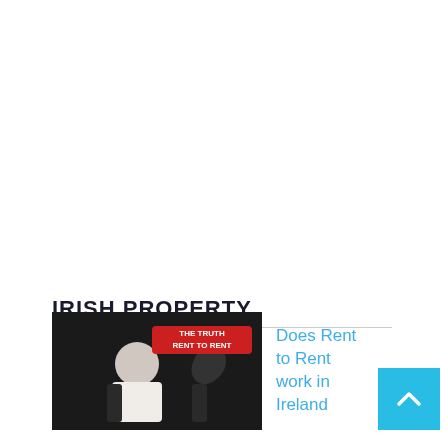IRISH PROPERTY
[Figure (photo): Thumbnail image showing a man in a white shirt with text overlay reading 'THE TRUTH RENT TO RENT' and a map of Ireland silhouette]
Does Rent to Rent work in Ireland